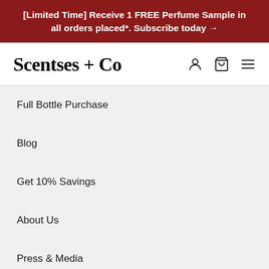[Limited Time] Receive 1 FREE Perfume Sample in all orders placed*. Subscribe today →
Scentses + Co
Full Bottle Purchase
Blog
Get 10% Savings
About Us
Press & Media
Subscribe Today